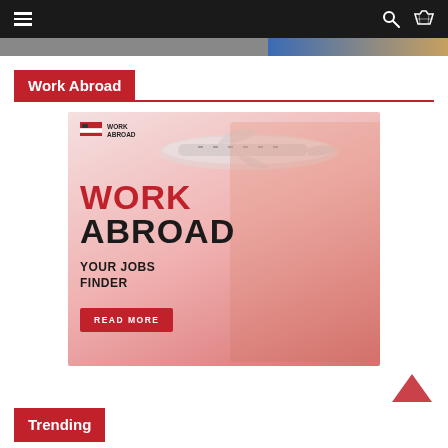Navigation bar with hamburger menu, search and shuffle icons
Work Abroad
[Figure (illustration): Work Abroad advertisement banner featuring a man in a red hard hat holding rolled blueprints with an airplane in the background. Text reads: WORK ABROAD YOUR JOBS FINDER with a READ MORE button.]
Trending